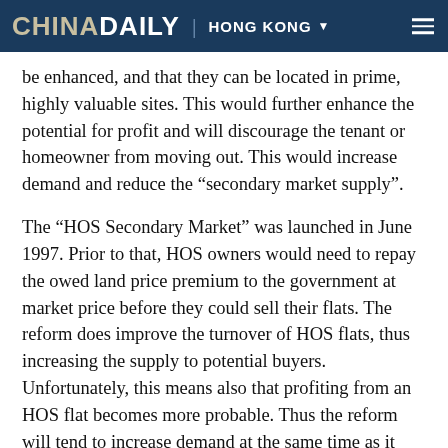CHINADAILY | HONG KONG
be enhanced, and that they can be located in prime, highly valuable sites. This would further enhance the potential for profit and will discourage the tenant or homeowner from moving out. This would increase demand and reduce the “secondary market supply”.
The “HOS Secondary Market” was launched in June 1997. Prior to that, HOS owners would need to repay the owed land price premium to the government at market price before they could sell their flats. The reform does improve the turnover of HOS flats, thus increasing the supply to potential buyers. Unfortunately, this means also that profiting from an HOS flat becomes more probable. Thus the reform will tend to increase demand at the same time as it increases supply.